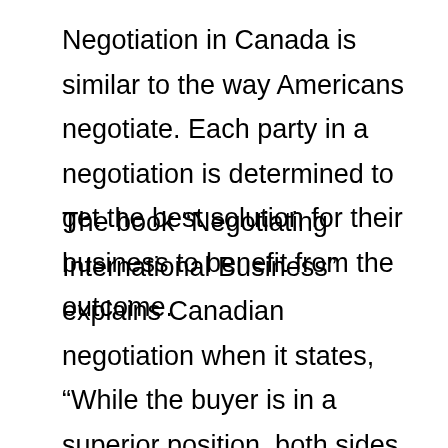Negotiation in Canada is similar to the way Americans negotiate. Each party in a negotiation is determined to get the best solution for their business to benefit from the outcome.
The book “Negotiating International Business” explains Canadian negotiation when it states, “While the buyer is in a superior position, both sides in a business deal own the responsibility to reach an agreement.”It then explains that Canadians want to gain trust and respect from a negotiation. Therefore when negotiating from a business standpoint, the buyer needs to listen and respond positively to a Canadian offer. It will help